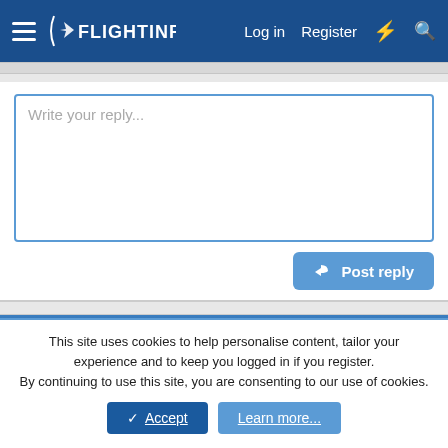FlightInfo — Log in   Register
Write your reply...
Post reply
Similar threads
JET IT
G-force · Charter
This site uses cookies to help personalise content, tailor your experience and to keep you logged in if you register.
By continuing to use this site, you are consenting to our use of cookies.
Accept   Learn more...